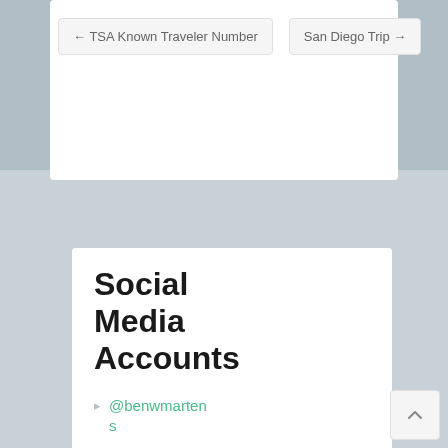← TSA Known Traveler Number
San Diego Trip →
Social Media Accounts
@benwmartens
@martenswoodshop
@tylammartens
@elijahmartens
@elijahmakes
youtube.com/b